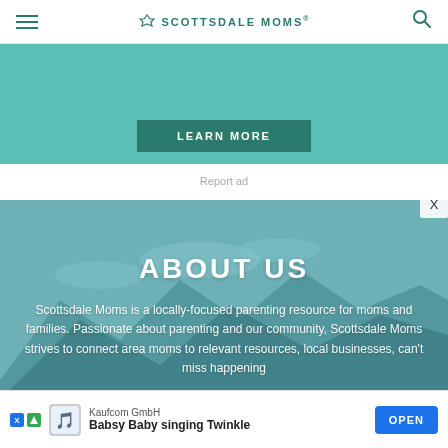SCOTTSDALE MOMS
[Figure (other): Teal/green advertisement banner with a LEARN MORE button]
Report ad
ABOUT US
Scottsdale Moms is a locally-focused parenting resource for moms and families. Passionate about parenting and our community, Scottsdale Moms strives to connect area moms to relevant resources, local businesses, can't miss happening
[Figure (other): Bottom advertisement banner: Kaufcom GmbH - Babsy Baby singing Twinkle - OPEN button]